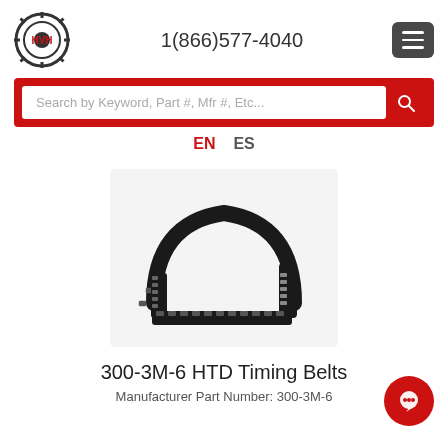[Figure (logo): HVH industrial supply logo showing a gear with HVH text in red]
1(866)577-4040
Search by Keyword, Part #, Mfr #, Etc...
EN  ES
[Figure (photo): 300-3M-6 HTD Timing Belt product photo showing a black toothed timing belt looped in an arch shape]
300-3M-6 HTD Timing Belts
Manufacturer Part Number: 300-3M-6